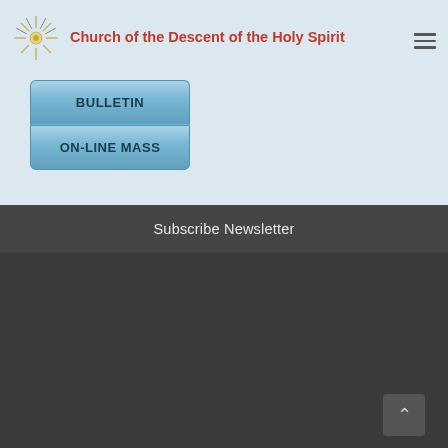[Figure (logo): Star/sunburst logo for Church of the Descent of the Holy Spirit]
Church of the Descent of the Holy Spirit
BULLETIN
ON-LINE MASS
Subscribe Newsletter
We use cookies We use cookies and other tracking technologies to improve your browsing experience on our website, to show you personalized content and targeted ads, to analyze our website traffic, and to understand where our visitors are coming from. By browsing our website, you consent to our use of cookies and other tracking technologies. Settings ∨